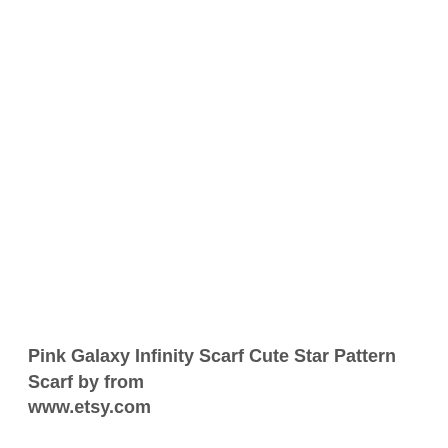Pink Galaxy Infinity Scarf Cute Star Pattern Scarf by from www.etsy.com